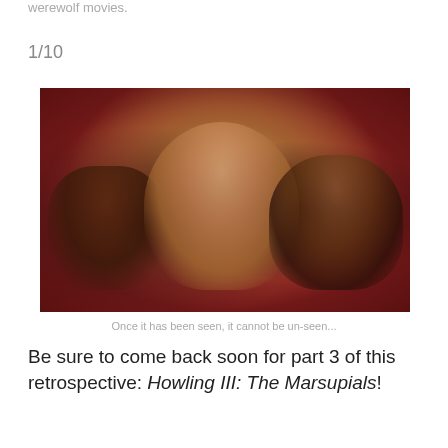werewolf movies.
1/10
[Figure (photo): A still from a horror film showing three figures lying on a red background — a blonde woman in the center, a dark furry creature on the left, and a dark-haired woman on the right.]
Once it has been seen, it cannot be un-seen...
Be sure to come back soon for part 3 of this retrospective: Howling III: The Marsupials!